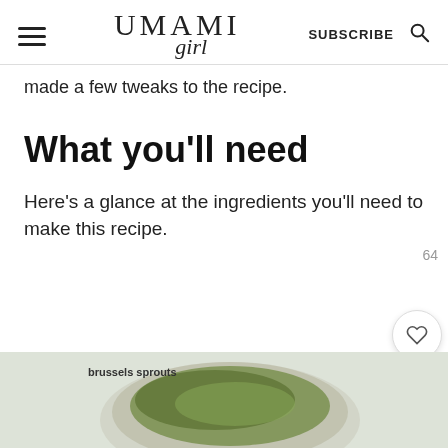UMAMI girl | SUBSCRIBE
made a few tweaks to the recipe.
What you'll need
Here's a glance at the ingredients you'll need to make this recipe.
[Figure (photo): Overhead flat-lay photo of ingredients including shredded brussels sprouts in a bowl, a small bowl of pecorino cheese, and other bowls on a white surface. Labels read 'brussels sprouts' and 'pecorino'.]